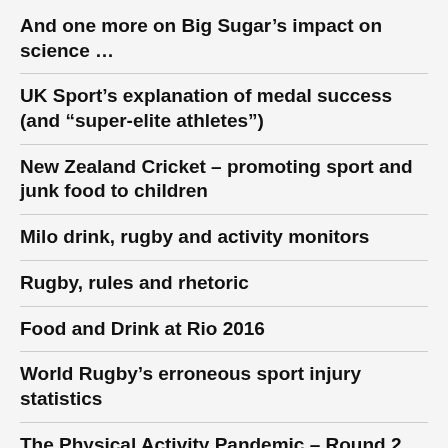And one more on Big Sugar’s impact on science …
UK Sport’s explanation of medal success (and “super-elite athletes”)
New Zealand Cricket – promoting sport and junk food to children
Milo drink, rugby and activity monitors
Rugby, rules and rhetoric
Food and Drink at Rio 2016
World Rugby’s erroneous sport injury statistics
The Physical Activity Pandemic – Round 2